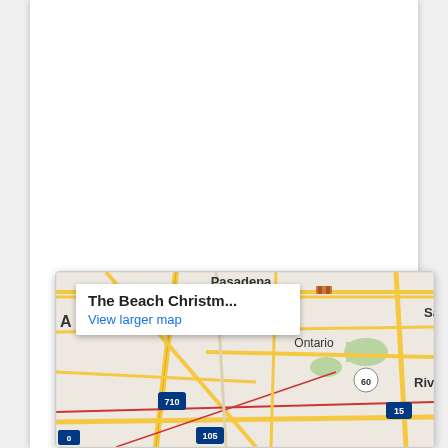[Figure (map): Google Maps embed showing the Los Angeles area including Pasadena, Ontario, and Riverside. A popup tooltip reads 'The Beach Christm...' with a 'View larger map' link. Highways visible include 710, 105, 60, 15. City labels include Pasadena, Ontario, Sa (San Bernardino), Rive (Riverside).]